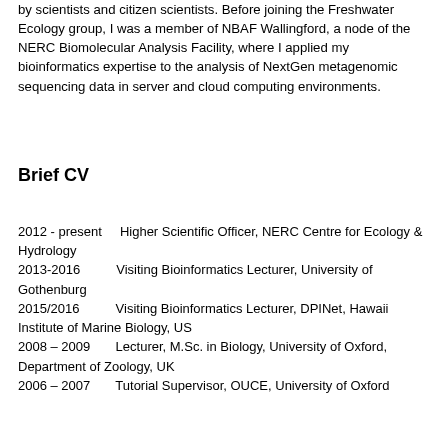by scientists and citizen scientists. Before joining the Freshwater Ecology group, I was a member of NBAF Wallingford, a node of the NERC Biomolecular Analysis Facility, where I applied my bioinformatics expertise to the analysis of NextGen metagenomic sequencing data in server and cloud computing environments.
Brief CV
2012 - present     Higher Scientific Officer, NERC Centre for Ecology & Hydrology
2013-2016          Visiting Bioinformatics Lecturer, University of Gothenburg
2015/2016          Visiting Bioinformatics Lecturer, DPINet, Hawaii Institute of Marine Biology, US
2008 – 2009        Lecturer, M.Sc. in Biology, University of Oxford, Department of Zoology, UK
2006 – 2007        Tutorial Supervisor, OUCE, University of Oxford